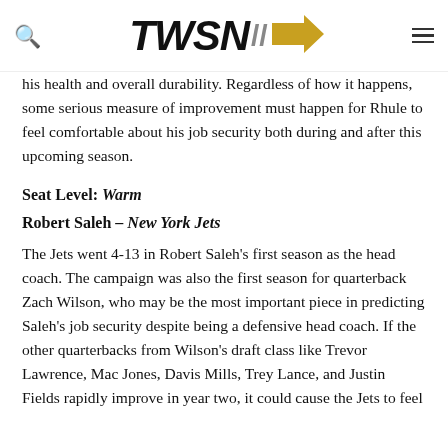TWSN
his health and overall durability. Regardless of how it happens, some serious measure of improvement must happen for Rhule to feel comfortable about his job security both during and after this upcoming season.
Seat Level: Warm
Robert Saleh – New York Jets
The Jets went 4-13 in Robert Saleh's first season as the head coach. The campaign was also the first season for quarterback Zach Wilson, who may be the most important piece in predicting Saleh's job security despite being a defensive head coach. If the other quarterbacks from Wilson's draft class like Trevor Lawrence, Mac Jones, Davis Mills, Trey Lance, and Justin Fields rapidly improve in year two, it could cause the Jets to feel